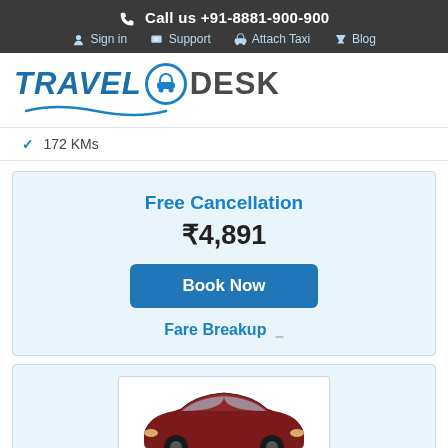Call us +91-8881-900-900
Sign in  Support  Attach Taxi  Blog
[Figure (logo): TravelODesk logo with blue car icon in circle and wave underneath]
✓ 172 KMs
Free Cancellation
₹4,891
Book Now
Fare Breakup
[Figure (photo): Partial view of a dark red/maroon car, bottom portion visible]